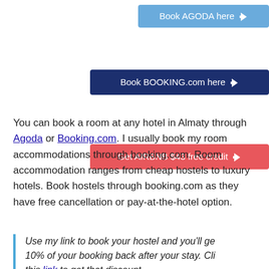[Figure (other): Blue button: Book AGODA here with cursor arrow]
[Figure (other): Dark navy button: Book BOOKING.com here with cursor arrow]
[Figure (other): Red/coral button: Get AIRBNB $43 free credit with cursor arrow]
You can book a room at any hotel in Almaty through Agoda or Booking.com. I usually book my room accommodations through booking.com. Room accommodation ranges from cheap hostels to luxury hotels. Book hostels through booking.com as they have free cancellation or pay-at-the-hotel option.
Use my link to book your hostel and you'll get 10% of your booking back after your stay. Cli this link to get that discount.